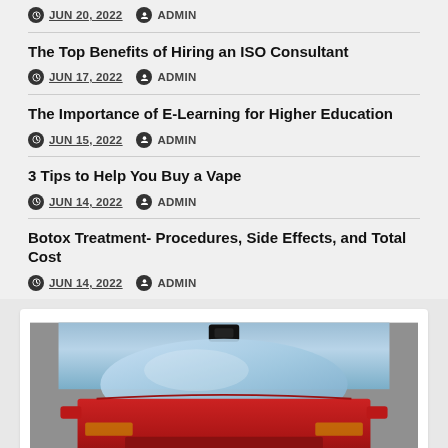JUN 20, 2022  ADMIN
The Top Benefits of Hiring an ISO Consultant
JUN 17, 2022  ADMIN
The Importance of E-Learning for Higher Education
JUN 15, 2022  ADMIN
3 Tips to Help You Buy a Vape
JUN 14, 2022  ADMIN
Botox Treatment- Procedures, Side Effects, and Total Cost
JUN 14, 2022  ADMIN
[Figure (photo): Front view of a red Range Rover SUV photographed from above, showing the windshield, hood, and side mirrors against a grey background. The Range Rover badge is visible on the front.]